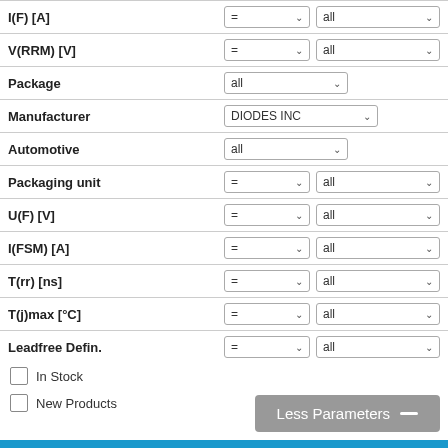| Parameter | Operator | Value |
| --- | --- | --- |
| I(F) [A] | = | all |
| V(RRM) [V] | = | all |
| Package |  | all |
| Manufacturer |  | DIODES INC |
| Automotive |  | all |
| Packaging unit | = | all |
| U(F) [V] | = | all |
| I(FSM) [A] | = | all |
| T(rr) [ns] | = | all |
| T(j)max [°C] | = | all |
| Leadfree Defin. | = | all |
In Stock
New Products
Less Parameters